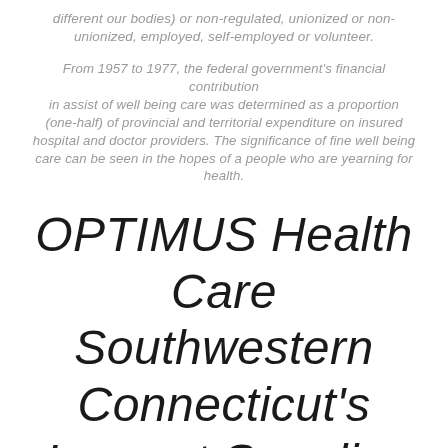different our bodies) or non-regulated, unionized or non-unionized, employed, self-employed or volunteer.
From 1957 to 1977, the federal government's financial contribution in assist of well being care was determined as a proportion (one-half) of provincial and territorial expenditure on insured hospital and doctor providers. The significance of fine well being care can be seen in the hopes of a people who are yearning for health.
OPTIMUS Health Care Southwestern Connecticut's Largest Supplier Of Primary Well being Care Providers
Healthcare providers can ship the most effective care when they